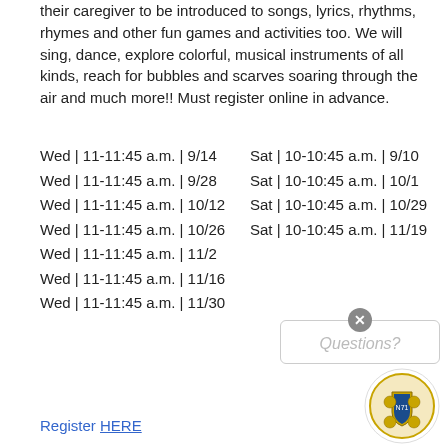their caregiver to be introduced to songs, lyrics, rhythms, rhymes and other fun games and activities too. We will sing, dance, explore colorful, musical instruments of all kinds, reach for bubbles and scarves soaring through the air and much more!! Must register online in advance.
Wed | 11-11:45 a.m. | 9/14    Sat | 10-10:45 a.m. | 9/10
Wed | 11-11:45 a.m. | 9/28    Sat | 10-10:45 a.m. | 10/1
Wed | 11-11:45 a.m. | 10/12   Sat | 10-10:45 a.m. | 10/29
Wed | 11-11:45 a.m. | 10/26   Sat | 10-10:45 a.m. | 11/19
Wed | 11-11:45 a.m. | 11/2
Wed | 11-11:45 a.m. | 11/16
Wed | 11-11:45 a.m. | 11/30
Register HERE